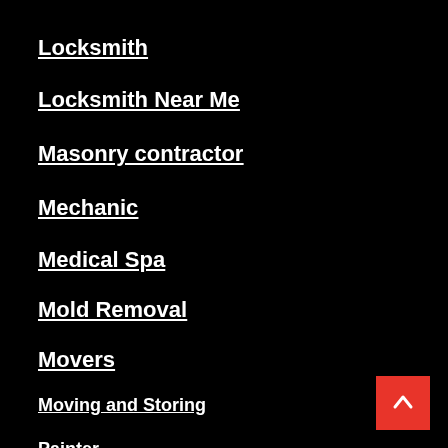Locksmith
Locksmith Near Me
Masonry contractor
Mechanic
Medical Spa
Mold Removal
Movers
Moving and Storing
Painter
Personal Injury Lawyer